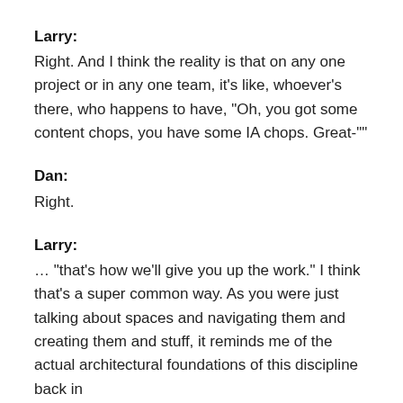Larry:
Right. And I think the reality is that on any one project or in any one team, it’s like, whoever’s there, who happens to have, “Oh, you got some content chops, you have some IA chops. Great-“”
Dan:
Right.
Larry:
… “that’s how we’ll give you up the work.” I think that’s a super common way. As you were just talking about spaces and navigating them and creating them and stuff, it reminds me of the actual architectural foundations of this discipline back in